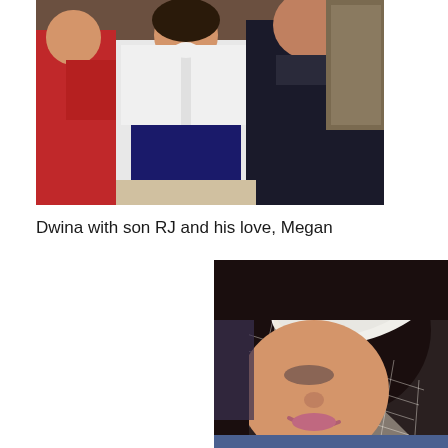[Figure (photo): Group photo of Dwina with son RJ and his love Megan. Three people visible: a woman in red, a woman in white blazer over dark skirt, and a man in dark suit.]
Dwina with son RJ and his love, Megan
[Figure (photo): Close-up photo of a woman wearing a white fascinator hat with a fine mesh/netting veil over her face. She has dark hair and is smiling.]